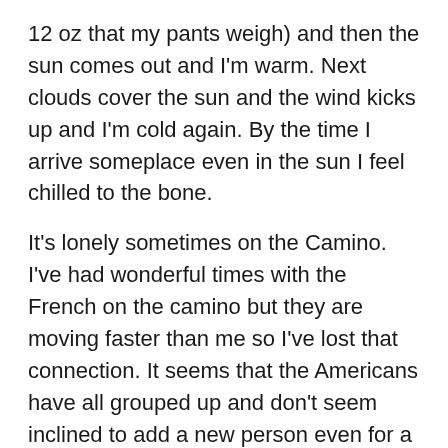12 oz that my pants weigh) and then the sun comes out and I'm warm. Next clouds cover the sun and the wind kicks up and I'm cold again. By the time I arrive someplace even in the sun I feel chilled to the bone.
It's lonely sometimes on the Camino. I've had wonderful times with the French on the camino but they are moving faster than me so I've lost that connection. It seems that the Americans have all grouped up and don't seem inclined to add a new person even for a while. And the Spanish? They are among the friendliest and my Spanish is so poor that conversation is frustrating for all. I MUST LEARN SPANISH!
Food has been a challenge too. I just haven't felt like eating most of the time. Of course if I don't eat I don't have the strength to keep going. So I try.